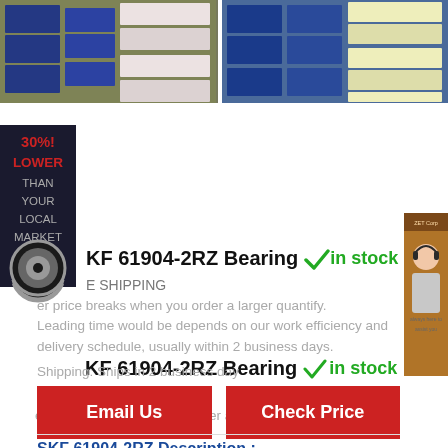[Figure (photo): Two warehouse shelf photos showing boxed bearings/industrial parts on shelves]
[Figure (infographic): Left side banner: 30% LOWER THAN YOUR LOCAL MARKET with bearing circle image]
[Figure (photo): Right side customer service representative photo on brown background]
SKF 61904-2RZ Bearing  ✓in stock
FREE SHIPPING
Lower price breaks when you order a larger quantify.
Leading time would be depends on our work efficiency and delivery schedule, usually within 2 business days.
Shipping: Ships in 2 business day
Email Us
Check Price
SKF 61904-2RZ Description :